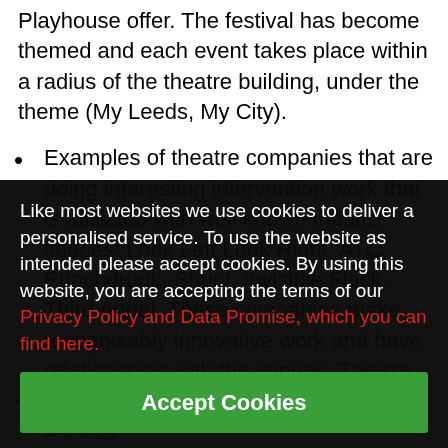Playhouse offer. The festival has become themed and each event takes place within a radius of the theatre building, under the theme (My Leeds, My City).
Examples of theatre companies that are doing interesting intervention work that is affiliated with well known theatre spaces: Look Left Look Right, ATC, Punchdrunk, Shunt, Invisible Flock, Third Angel. These companies make recognisably innovative work and have relationships with the venues. They're interesting and interested in making work with specific venues and have good relationships with them. Good model for emerging companies – get your work seen in the right places.
Like most websites we use cookies to deliver a personalised service. To use the website as intended please accept cookies. By using this website, you are accepting the terms of our Privacy Policy and Data Promise, which you can find here.
Accept Cookies
Is ticketing outdoor events important? Do they